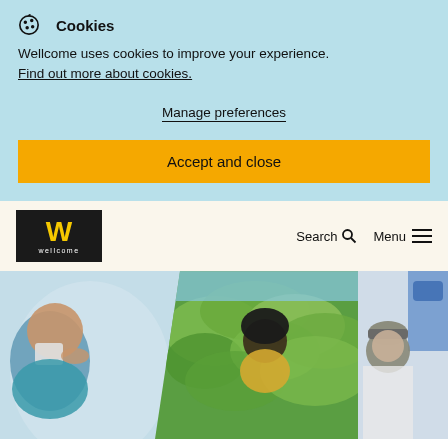Cookies
Wellcome uses cookies to improve your experience. Find out more about cookies.
Manage preferences
Accept and close
[Figure (logo): Wellcome logo: black square with yellow W and white 'wellcome' text]
Search
Menu
[Figure (photo): Three overlapping circular/triangular photo panels: left shows a woman drinking from a cup, center shows a woman examining green plants outdoors, right partially shows a person in a grey beanie near lab equipment]